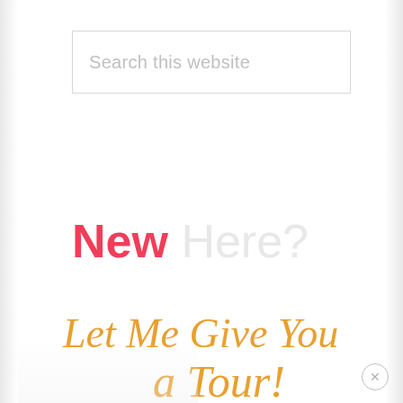[Figure (screenshot): Search input box with placeholder text 'Search this website']
New Here?
[Figure (illustration): Handwritten cursive text reading 'Let Me Give You a Tour!']